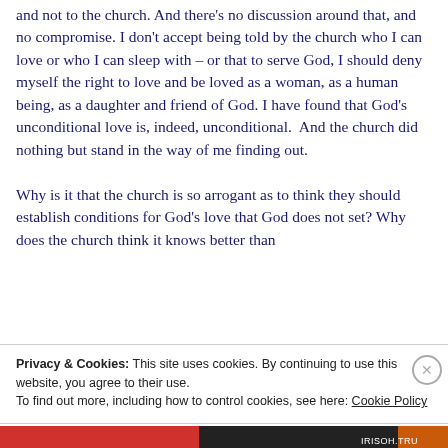and not to the church. And there's no discussion around that, and no compromise. I don't accept being told by the church who I can love or who I can sleep with – or that to serve God, I should deny myself the right to love and be loved as a woman, as a human being, as a daughter and friend of God. I have found that God's unconditional love is, indeed, unconditional.  And the church did nothing but stand in the way of me finding out.

Why is it that the church is so arrogant as to think they should establish conditions for God's love that God does not set? Why does the church think it knows better than
Privacy & Cookies: This site uses cookies. By continuing to use this website, you agree to their use.
To find out more, including how to control cookies, see here: Cookie Policy
Close and accept